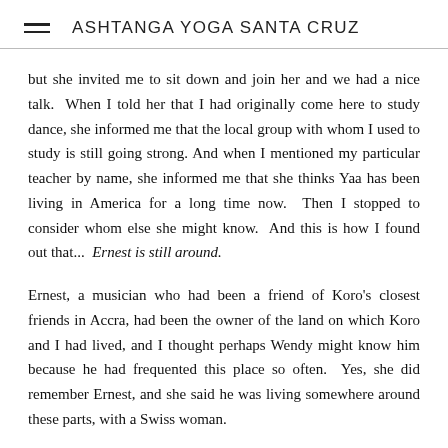ASHTANGA YOGA SANTA CRUZ
but she invited me to sit down and join her and we had a nice talk.  When I told her that I had originally come here to study dance, she informed me that the local group with whom I used to study is still going strong. And when I mentioned my particular teacher by name, she informed me that she thinks Yaa has been living in America for a long time now.  Then I stopped to consider whom else she might know.  And this is how I found out that...  Ernest is still around.
Ernest, a musician who had been a friend of Koro's closest friends in Accra, had been the owner of the land on which Koro and I had lived, and I thought perhaps Wendy might know him because he had frequented this place so often.  Yes, she did remember Ernest, and she said he was living somewhere around these parts, with a Swiss woman.